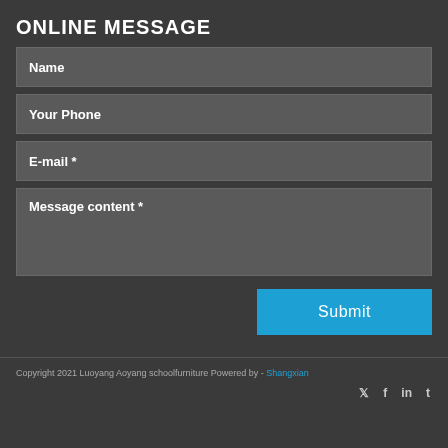ONLINE MESSAGE
Name
Your Phone
E-mail *
Message content *
Submit
Copyright 2021 Luoyang Aoyang schoolfurniture Powered by - Shangxian